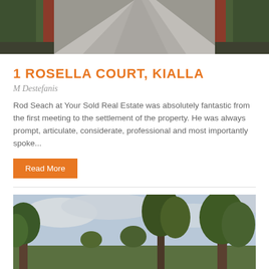[Figure (photo): Aerial/straight view of a concrete driveway with red brick edging, flanked by green hedges on both sides, leading away from viewer]
1 ROSELLA COURT, KIALLA
M Destefanis
Rod Seach at Your Sold Real Estate was absolutely fantastic from the first meeting to the settlement of the property. He was always prompt, articulate, considerate, professional and most importantly spoke...
Read More
[Figure (photo): Outdoor scene with large green trees against a cloudy sky, appears to be a residential property exterior]